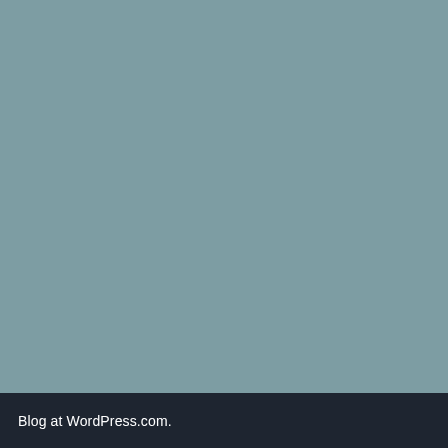[Figure (photo): Solid muted teal/grey-blue background filling the upper portion of the page]
Blog at WordPress.com.